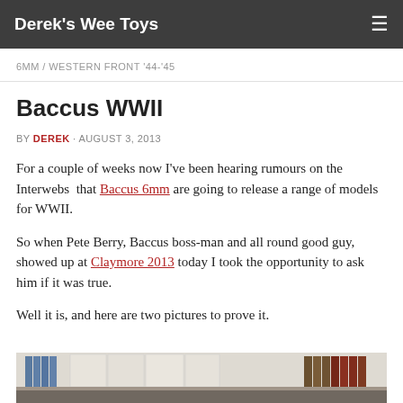Derek's Wee Toys
6MM / WESTERN FRONT '44-'45
Baccus WWII
BY DEREK · AUGUST 3, 2013
For a couple of weeks now I've been hearing rumours on the Interwebs  that Baccus 6mm are going to release a range of models for WWII.
So when Pete Berry, Baccus boss-man and all round good guy, showed up at Claymore 2013 today I took the opportunity to ask him if it was true.
Well it is, and here are two pictures to prove it.
[Figure (photo): Partial photo of what appears to be miniature model boxes/books on a shelf, cropped at bottom of page]